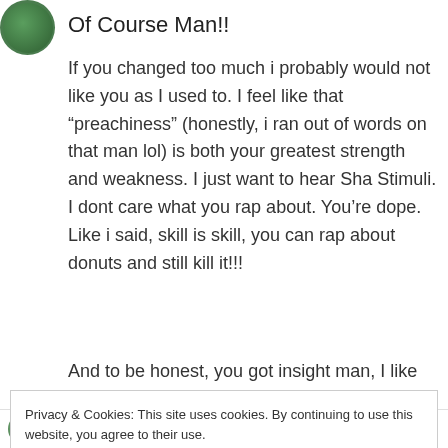Of Course Man!!
If you changed too much i probably would not like you as I used to. I feel like that “preachiness” (honestly, i ran out of words on that man lol) is both your greatest strength and weakness. I just want to hear Sha Stimuli. I dont care what you rap about. You’re dope. Like i said, skill is skill, you can rap about donuts and still kill it!!!
And to be honest, you got insight man, I like how
Privacy & Cookies: This site uses cookies. By continuing to use this website, you agree to their use.
To find out more, including how to control cookies, see here: Cookie Policy
Close and accept
investigator in toronto on October 16, 2017 at 11:04